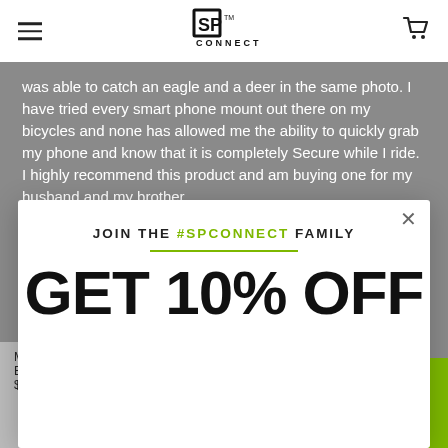SP Connect
was able to catch an eagle and a deer in the same photo. I have tried every smart phone mount out there on my bicycles and none has allowed me the ability to quickly grab my phone and know that it is completely Secure while I ride. I highly recommend this product and am buying one for my husband and my brother.
Share   Was this helpful?  0  0
JOIN THE #SPCONNECT FAMILY
GET 10% OFF